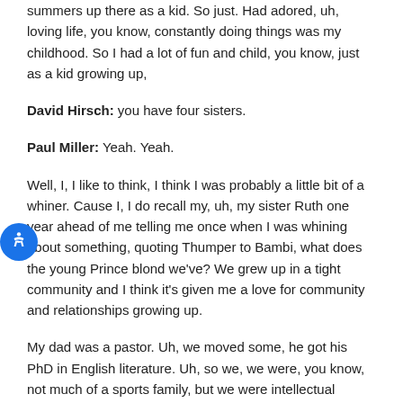summers up there as a kid. So just. Had adored, uh, loving life, you know, constantly doing things was my childhood. So I had a lot of fun and child, you know, just as a kid growing up,
David Hirsch: you have four sisters.
Paul Miller: Yeah. Yeah.
Well, I, I like to think, I think I was probably a little bit of a whiner. Cause I, I do recall my, uh, my sister Ruth one year ahead of me telling me once when I was whining about something, quoting Thumper to Bambi, what does the young Prince blond we've? We grew up in a tight community and I think it's given me a love for community and relationships growing up.
My dad was a pastor. Uh, we moved some, he got his PhD in English literature. Uh, so we, we were, you know, not much of a sports family, but we were intellectual museum. You know, we, we talked ideas a lot, so I love that combination. Of fun and adventure